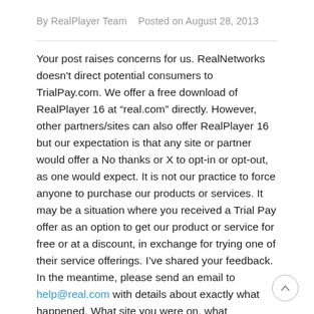By RealPlayer Team   Posted on August 28, 2013
Your post raises concerns for us. RealNetworks doesn't direct potential consumers to TrialPay.com. We offer a free download of RealPlayer 16 at “real.com” directly. However, other partners/sites can also offer RealPlayer 16 but our expectation is that any site or partner would offer a No thanks or X to opt-in or opt-out, as one would expect. It is not our practice to force anyone to purchase our products or services. It may be a situation where you received a Trial Pay offer as an option to get our product or service for free or at a discount, in exchange for trying one of their service offerings. I’ve shared your feedback. In the meantime, please send an email to help@real.com with details about exactly what happened. What site you were on, what selections you made, etc. That way we can better understand what happened and make sure that our products